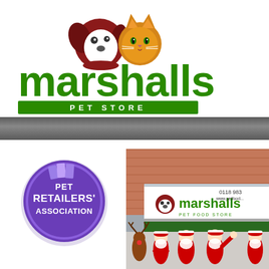[Figure (logo): Marshalls Pet Store logo with dog and cat icons above green 'marshalls' text and green 'PET STORE' banner]
[Figure (logo): Pet Retailers' Association circular purple badge/logo with stacked books icon]
[Figure (photo): Exterior of Marshalls Pet Store with Santas and a reindeer character outside the storefront showing phone number 0118 983 and website www.petfood...]